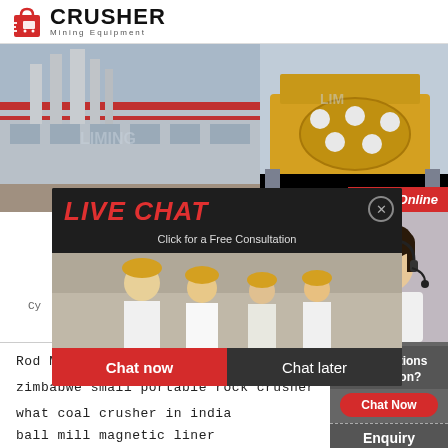[Figure (logo): Crusher Mining Equipment logo with red shopping bag icon and bold CRUSHER text]
[Figure (photo): Industrial mining facility with large pipes and grey buildings (left image)]
[Figure (photo): Yellow mining machinery/rotary equipment outdoors (right image)]
[Figure (infographic): Live Chat popup overlay showing workers in hard hats, LIVE CHAT title, Click for a Free Consultation subtitle, Chat now and Chat later buttons, 24Hrs Online badge]
[Figure (photo): Customer service representative with headset smiling]
Need questions & suggestion?
Chat Now
Enquiry
limingjlmofen@sina.com
Cy
Rod Mills Grinding Versus Ball
zimbabwe small portable rock crusher
what coal crusher in india
ball mill magnetic liner